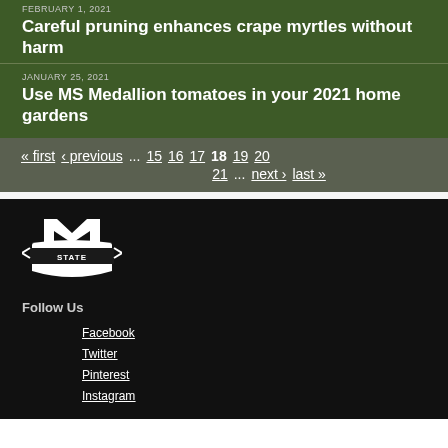FEBRUARY 1, 2021
Careful pruning enhances crape myrtles without harm
JANUARY 25, 2021
Use MS Medallion tomatoes in your 2021 home gardens
« first  ‹ previous  ...  15  16  17  18  19  20  21  ...  next ›  last »
[Figure (logo): Mississippi State University M-STATE logo in white on black background]
Follow Us
Facebook
Twitter
Pinterest
Instagram